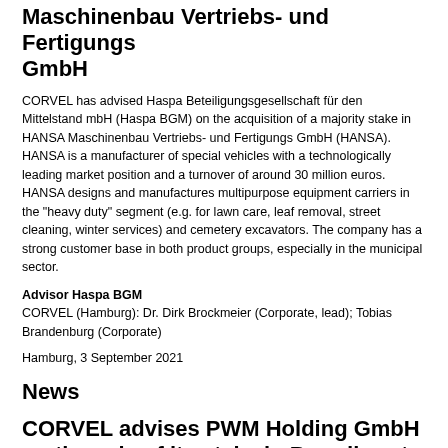Maschinenbau Vertriebs- und Fertigungs GmbH
CORVEL has advised Haspa Beteiligungsgesellschaft für den Mittelstand mbH (Haspa BGM) on the acquisition of a majority stake in HANSA Maschinenbau Vertriebs- und Fertigungs GmbH (HANSA). HANSA is a manufacturer of special vehicles with a technologically leading market position and a turnover of around 30 million euros. HANSA designs and manufactures multipurpose equipment carriers in the "heavy duty" segment (e.g. for lawn care, leaf removal, street cleaning, winter services) and cemetery excavators. The company has a strong customer base in both product groups, especially in the municipal sector.
Advisor Haspa BGM
CORVEL (Hamburg): Dr. Dirk Brockmeier (Corporate, lead); Tobias Brandenburg (Corporate)
Hamburg, 3 September 2021
News
CORVEL advises PWM Holding GmbH on the sale of its stake in Brandhorst &